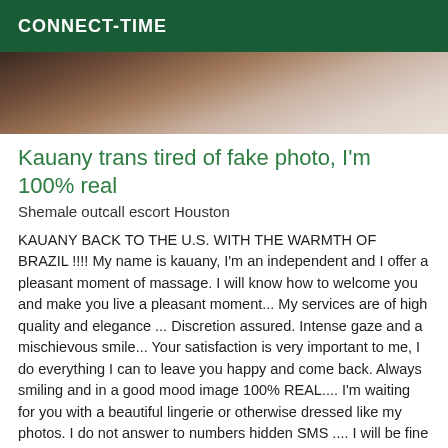CONNECT-TIME
[Figure (photo): Partial photo of a person, cropped showing upper body area with dark clothing]
Kauany trans tired of fake photo, I'm 100% real
Shemale outcall escort Houston
KAUANY BACK TO THE U.S. WITH THE WARMTH OF BRAZIL !!!! My name is kauany, I'm an independent and I offer a pleasant moment of massage. I will know how to welcome you and make you live a pleasant moment... My services are of high quality and elegance ... Discretion assured. Intense gaze and a mischievous smile... Your satisfaction is very important to me, I do everything I can to leave you happy and come back. Always smiling and in a good mood image 100% REAL.... I'm waiting for you with a beautiful lingerie or otherwise dressed like my photos. I do not answer to numbers hidden SMS .... I will be fine with lingerie ...